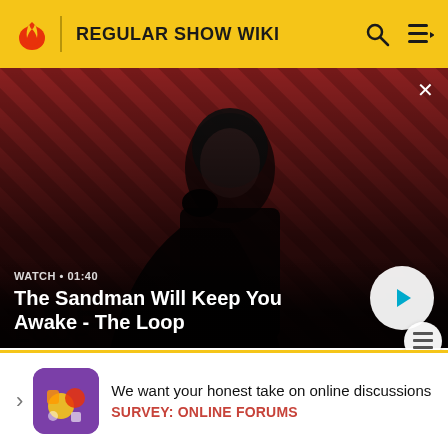REGULAR SHOW WIKI
[Figure (screenshot): Video thumbnail showing a dark-cloaked figure with a raven on a red and dark striped background. Title card reads 'The Sandman Will Keep You Awake - The Loop'. Duration shown: 01:40. Play button visible.]
skimpy outfits she wore, and how flustered Mordecai gets around her. In "Slam Dunk", the camera focuses on her butt a... r... to ha... in his so... s" and a...
We want your honest take on online discussions
SURVEY: ONLINE FORUMS